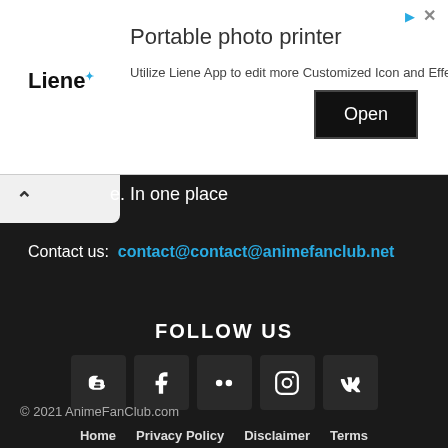[Figure (screenshot): Advertisement banner for Liene portable photo printer with logo, headline, body text, and Open button]
e. In one place
Contact us: contact@contact@animefanclub.net
FOLLOW US
[Figure (illustration): Row of social media icons: Blogger, Facebook, Flickr, Instagram, VK]
© 2021 AnimeFanClub.com
Home  Privacy Policy  Disclaimer  Terms